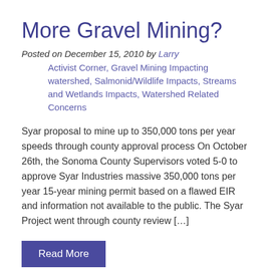More Gravel Mining?
Posted on December 15, 2010 by Larry
Activist Corner, Gravel Mining Impacting watershed, Salmonid/Wildlife Impacts, Streams and Wetlands Impacts, Watershed Related Concerns
Syar proposal to mine up to 350,000 tons per year speeds through county approval process On October 26th, the Sonoma County Supervisors voted 5-0 to approve Syar Industries massive 350,000 tons per year 15-year mining permit based on a flawed EIR and information not available to the public. The Syar Project went through county review […]
Read More